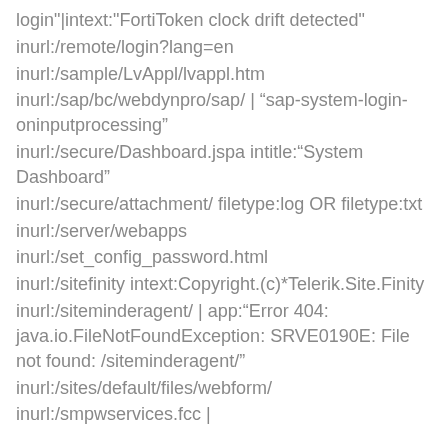login"|intext:"FortiToken clock drift detected"
inurl:/remote/login?lang=en
inurl:/sample/LvAppl/lvappl.htm
inurl:/sap/bc/webdynpro/sap/ | "sap-system-login-oninputprocessing"
inurl:/secure/Dashboard.jspa intitle:"System Dashboard"
inurl:/secure/attachment/ filetype:log OR filetype:txt
inurl:/server/webapps
inurl:/set_config_password.html
inurl:/sitefinity intext:Copyright.(c)*Telerik.Site.Finity
inurl:/siteminderagent/ | app:"Error 404: java.io.FileNotFoundException: SRVE0190E: File not found: /siteminderagent/"
inurl:/sites/default/files/webform/
inurl:/smpwservices.fcc |